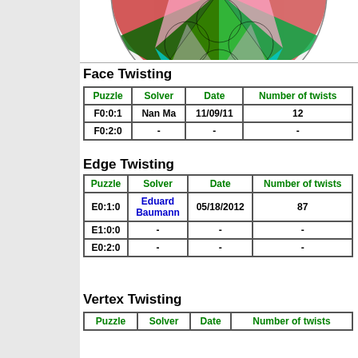[Figure (illustration): Colorful circular puzzle with stained-glass style geometric patterns in red, green, yellow, cyan, pink, and other colors, partially cropped at top]
Face Twisting
| Puzzle | Solver | Date | Number of twists |
| --- | --- | --- | --- |
| F0:0:1 | Nan Ma | 11/09/11 | 12 |
| F0:2:0 | - | - | - |
Edge Twisting
| Puzzle | Solver | Date | Number of twists |
| --- | --- | --- | --- |
| E0:1:0 | Eduard Baumann | 05/18/2012 | 87 |
| E1:0:0 | - | - | - |
| E0:2:0 | - | - | - |
Vertex Twisting
| Puzzle | Solver | Date | Number of twists |
| --- | --- | --- | --- |